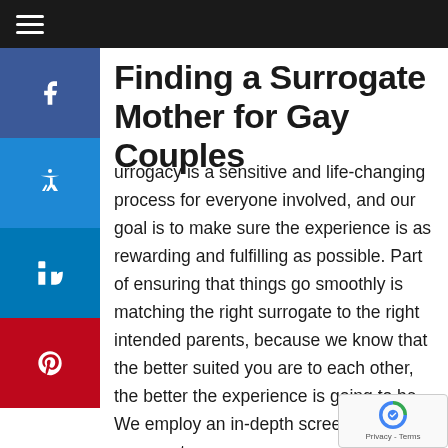Navigation bar with hamburger menu
Finding a Surrogate Mother for Gay Couples
Surrogacy is a sensitive and life-changing process for everyone involved, and our goal is to make sure the experience is as rewarding and fulfilling as possible. Part of ensuring that things go smoothly is matching the right surrogate to the right intended parents, because we know that the better suited you are to each other, the better the experience is going to be. We employ an in-depth screening process to assess our surrogate mothers, part of which includes determining who she'd ideally like to work with and why. We then use this information to determine which of our intended parents would be a good match and then provide them with opportunity to review the profiles themselves and meet the surrogate. This helps to avoid any ideological or religious differences that...